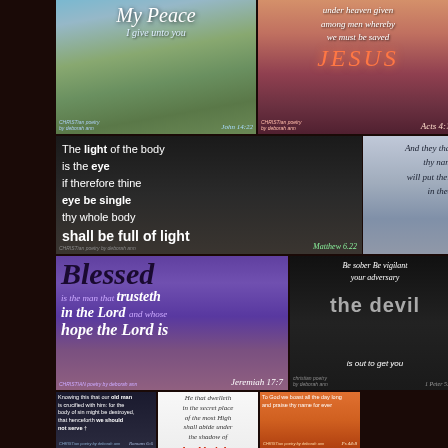[Figure (illustration): Christian poetry image with rocky shoreline and calm water, white italic text 'My Peace I give unto you', credit 'CHRISTian poetry by deborah ann', reference 'John 14:22']
[Figure (illustration): Christian poetry image with mountain landscape and pink sky, italic text 'under heaven given among men whereby we must be saved JESUS', credit 'CHRISTian poetry by deborah ann', reference 'Acts 4:12']
[Figure (illustration): Christian poetry image with close-up of an eye, text 'The light of the body is the eye if therefore thine eye be single thy whole body shall be full of light', reference 'Matthew 6.22', credit 'CHRISTian poetry by deborah ann']
[Figure (illustration): Christian poetry image with lighthouse in mist, cursive text 'And they that know thy name will put their trust in thee', reference 'Psalm 9:10']
[Figure (illustration): Christian poetry image with purple rocky landscape, text 'Blessed is the man that trusteth in the Lord and whose hope the Lord is', reference 'Jeremiah 17:7']
[Figure (illustration): Christian poetry image with lion portrait, text 'Be sober Be vigilant your adversary the devil is out to get you', reference '1 Peter 5:8-2']
[Figure (illustration): Small dark Christian poetry image with cross, text about old man crucified with him, reference 'Romans 6:6']
[Figure (illustration): Small white background Christian poetry image, text 'He that dwelleth in the secret place of the most High shall abide under the shadow of the Almighty']
[Figure (illustration): Small warm-toned Christian poetry image with silhouette and sunset, text 'To God we boast all the day long and praise thy name for ever', reference 'Ps 44:8']
[Figure (illustration): Partial view of Christian image with 'Jesus' text]
[Figure (illustration): Partial view of Christian image with green/yellow tones]